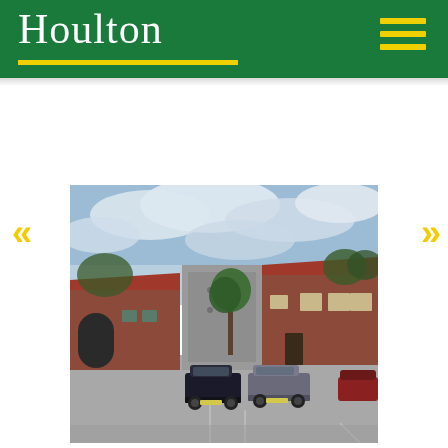Houlton
[Figure (photo): Photograph of a commercial/office building complex with red brick and red tile roofs, a modern grey concrete section in the center, a young tree, and a car park with several cars in the foreground under a partly cloudy sky.]